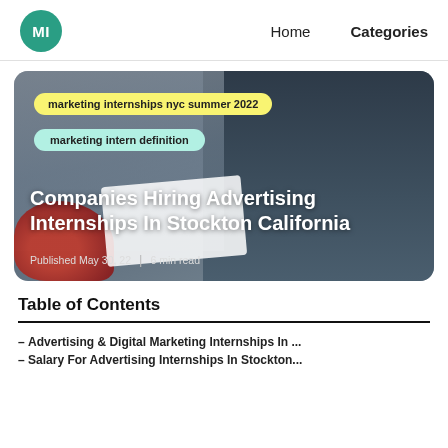MI | Home   Categories
[Figure (photo): Hero image showing two people at a desk, one in a black blazer (woman) and one in a dark suit (man), with red flowers at the bottom left. Overlaid with two keyword tags: 'marketing internships nyc summer 2022' (yellow) and 'marketing intern definition' (mint/teal). Large white title text: 'Companies Hiring Advertising Internships In Stockton California'. Meta: Published May 30, 22 | 6 min read]
Table of Contents
- Advertising & Digital Marketing Internships In ...
- Salary For Advertising Internships In Stockton...